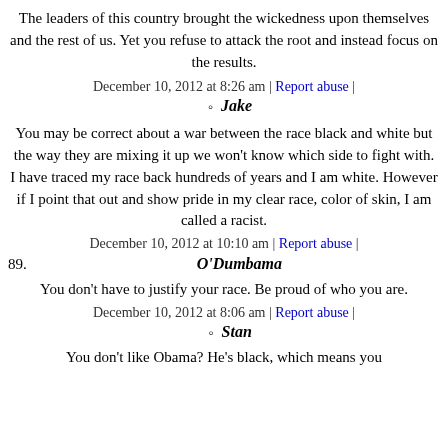The leaders of this country brought the wickedness upon themselves and the rest of us. Yet you refuse to attack the root and instead focus on the results.
December 10, 2012 at 8:26 am | Report abuse |
Jake
You may be correct about a war between the race black and white but the way they are mixing it up we won't know which side to fight with. I have traced my race back hundreds of years and I am white. However if I point that out and show pride in my clear race, color of skin, I am called a racist.
December 10, 2012 at 10:10 am | Report abuse |
89. O'Dumbama
You don't have to justify your race. Be proud of who you are.
December 10, 2012 at 8:06 am | Report abuse |
Stan
You don't like Obama? He's black, which means you